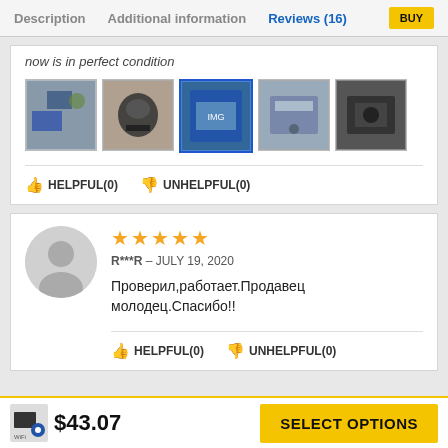Description | Additional information | Reviews (16)
now is in perfect condition
[Figure (photo): Five thumbnail photos of the product]
HELPFUL(0)   UNHELPFUL(0)
★★★★★
R***R – JULY 19, 2020
Проверил,работает.Продавец молодец.Спасибо!!
HELPFUL(0)   UNHELPFUL(0)
$43.07
SELECT OPTIONS